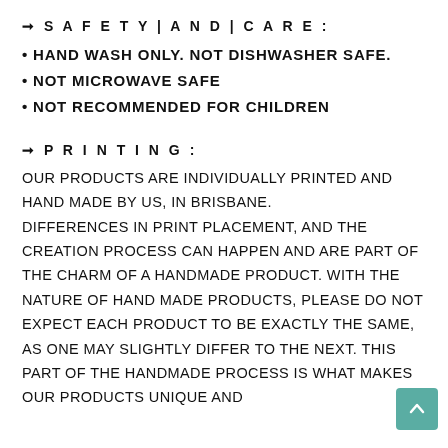✦ S A F E T Y | A N D | C A R E :
• HAND WASH ONLY. NOT DISHWASHER SAFE.
• NOT MICROWAVE SAFE
• NOT RECOMMENDED FOR CHILDREN
✦ P R I N T I N G :
OUR PRODUCTS ARE INDIVIDUALLY PRINTED AND HAND MADE BY US, IN BRISBANE. DIFFERENCES IN PRINT PLACEMENT, AND THE CREATION PROCESS CAN HAPPEN AND ARE PART OF THE CHARM OF A HANDMADE PRODUCT. WITH THE NATURE OF HAND MADE PRODUCTS, PLEASE DO NOT EXPECT EACH PRODUCT TO BE EXACTLY THE SAME, AS ONE MAY SLIGHTLY DIFFER TO THE NEXT. THIS PART OF THE HANDMADE PROCESS IS WHAT MAKES OUR PRODUCTS UNIQUE AND